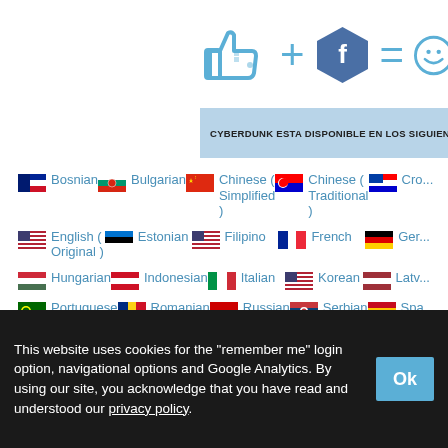[Figure (infographic): Icons: thumbs up + Facebook hexagon = smiley/result icon in blue]
CYBERDUNK ESTA DISPONIBLE EN LOS SIGUIENTES IDI...
Bosnian
Bulgarian
Chinese (Simplified)
Chinese (Traditional)
Cro...
English (Original)
Estonian
Filipino
French
Ger...
Hungarian
Indonesian
Italian
Korean
Latv...
Portuguese
Romanian
Russian
Serbian
Spa...
This website uses cookies for the "remember me" login option, navigational options and Google Analytics. By using our site, you acknowledge that you have read and understood our privacy policy.